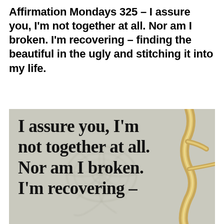Affirmation Mondays 325 – I assure you, I'm not together at all. Nor am I broken. I'm recovering – finding the beautiful in the ugly and stitching it into my life.
[Figure (illustration): Decorative image with a light grey textured background featuring an embossed floral/peony design in the center and gold kintsugi-style cracked pattern on the right side. Bold serif text overlaid reads: 'I assure you, I'm not together at all. Nor am I broken. I'm recovering –']